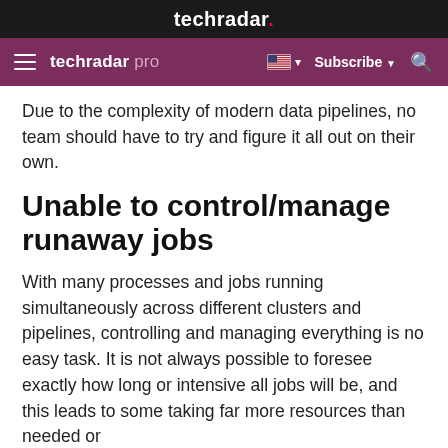techradar.
techradar pro  Subscribe
Due to the complexity of modern data pipelines, no team should have to try and figure it all out on their own.
Unable to control/manage runaway jobs
With many processes and jobs running simultaneously across different clusters and pipelines, controlling and managing everything is no easy task. It is not always possible to foresee exactly how long or intensive all jobs will be, and this leads to some taking far more resources than needed or